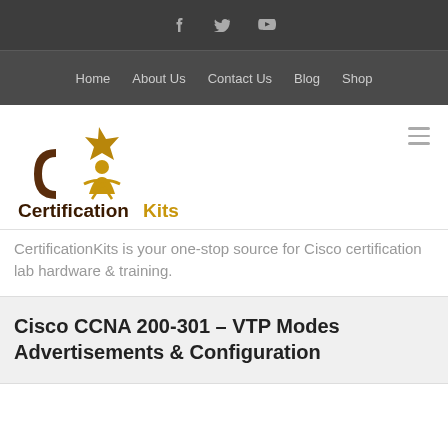Social media icons: Facebook, Twitter, YouTube
Home | About Us | Contact Us | Blog | Shop
[Figure (logo): CertificationKits logo with graduation figure and bold text 'CertificationKits' in brown and gold]
CertificationKits is your one-stop source for Cisco certification lab hardware & training.
Cisco CCNA 200-301 – VTP Modes Advertisements & Configuration